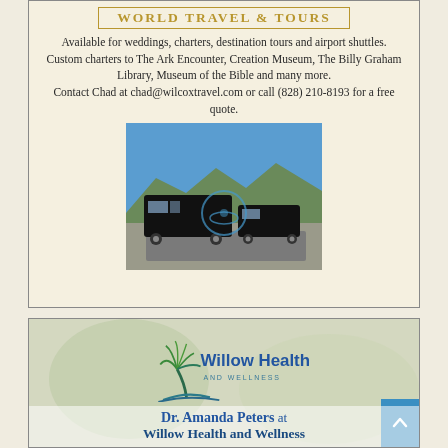WORLD TRAVEL & TOURS
Available for weddings, charters, destination tours and airport shuttles.
Custom charters to The Ark Encounter, Creation Museum, The Billy Graham Library, Museum of the Bible and many more.
Contact Chad at chad@wilcoxtravel.com or call (828) 210-8193 for a free quote.
[Figure (photo): Two black buses/vans parked outdoors with mountains and blue sky in background, with a circular logo overlay.]
[Figure (logo): Willow Health and Wellness logo with stylized willow tree in green and blue, text reading 'Willow Health AND WELLNESS'. Below: Dr. Amanda Peters at Willow Health and Wellness.]